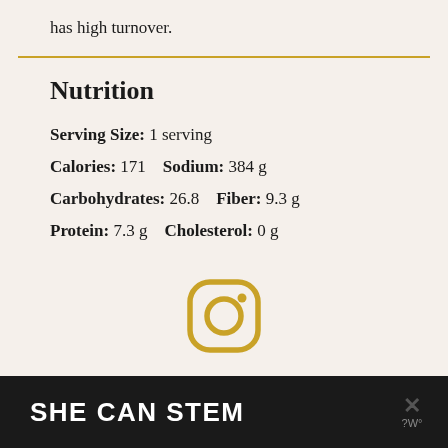has high turnover.
Nutrition
Serving Size: 1 serving
Calories: 171   Sodium: 384 g
Carbohydrates: 26.8   Fiber: 9.3 g
Protein: 7.3 g   Cholesterol: 0 g
[Figure (logo): Instagram icon in gold/yellow outline style]
SHE CAN STEM